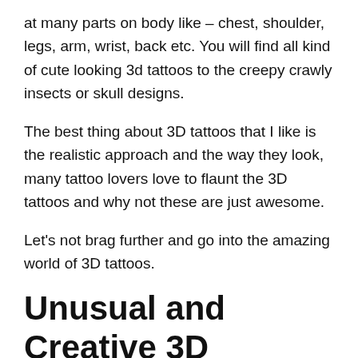at many parts on body like – chest, shoulder, legs, arm, wrist, back etc. You will find all kind of cute looking 3d tattoos to the creepy crawly insects or skull designs.
The best thing about 3D tattoos that I like is the realistic approach and the way they look, many tattoo lovers love to flaunt the 3D tattoos and why not these are just awesome.
Let's not brag further and go into the amazing world of 3D tattoos.
Unusual and Creative 3D Tattoos for Men and Women